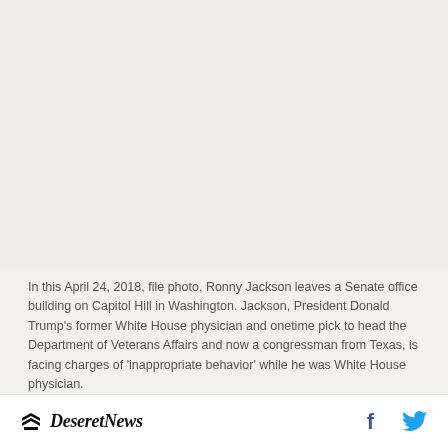[Figure (photo): Blank/light gray photo area showing no visible image content (photo of Ronny Jackson leaving a Senate office building, April 24, 2018)]
In this April 24, 2018, file photo, Ronny Jackson leaves a Senate office building on Capitol Hill in Washington. Jackson, President Donald Trump’s former White House physician and onetime pick to head the Department of Veterans Affairs and now a congressman from Texas, is facing charges of ‘inappropriate behavior’ while he was White House physician.
Deseret News